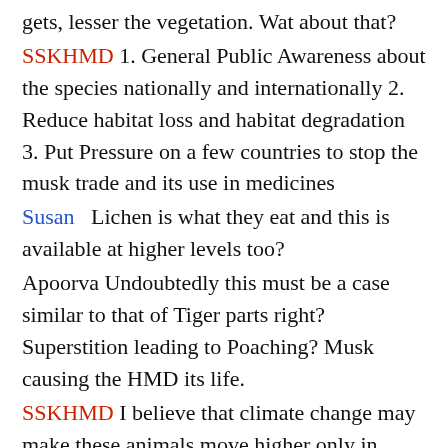gets, lesser the vegetation. Wat about that?
SSKHMD 1. General Public Awareness about the species nationally and internationally 2. Reduce habitat loss and habitat degradation 3. Put Pressure on a few countries to stop the musk trade and its use in medicines
Susan   Lichen is what they eat and this is available at higher levels too?
Apoorva Undoubtedly this must be a case similar to that of Tiger parts right? Superstition leading to Poaching? Musk causing the HMD its life.
SSKHMD I believe that climate change may make these animals move higher only in undisturbed areas
COMMONER Is there any possibility of weaning  away the users of musk perfumes and